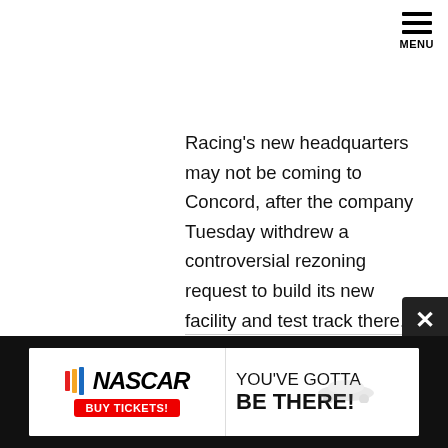Racing's new headquarters may not be coming to Concord, after the company Tuesday withdrew a controversial rezoning request to build its new facility and test track there. The $75 million proj-ect drew opposition from hundreds of Concord residents who live near the proposed 106-acre facility on U.S. 29. The residents feared the test track would generate too much noise. See the rest of the Charlotte Observer article at: Roush Racing abandons rezoning effort, Concord site .(7-22-1999)
[Figure (infographic): NASCAR 'YOU'VE GOTTA BE THERE!' advertisement banner with NASCAR logo, BUY TICKETS button, and a racing car image]